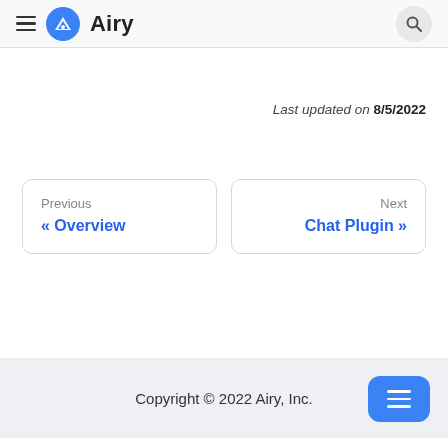Airy
Last updated on 8/5/2022
Previous « Overview
Next Chat Plugin »
Copyright © 2022 Airy, Inc.